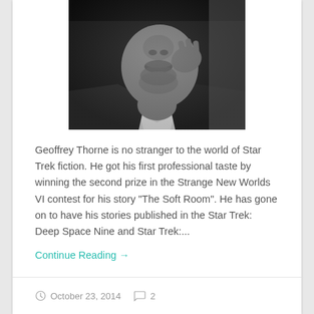[Figure (photo): Black and white close-up photo of a man, partially cropped, showing face from nose down and upper body, hand near chin, wearing a collared shirt and jacket.]
Geoffrey Thorne is no stranger to the world of Star Trek fiction. He got his first professional taste by winning the second prize in the Strange New Worlds VI contest for his story "The Soft Room". He has gone on to have his stories published in the Star Trek: Deep Space Nine and Star Trek:...
Continue Reading →
October 23, 2014   2